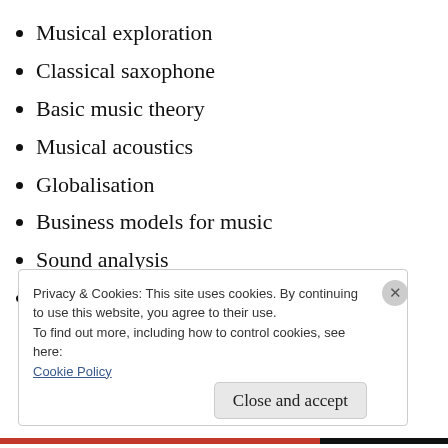Musical exploration
Classical saxophone
Basic music theory
Musical acoustics
Globalisation
Business models for music
Sound analysis
Sound recording
Privacy & Cookies: This site uses cookies. By continuing to use this website, you agree to their use.
To find out more, including how to control cookies, see here:
Cookie Policy
Close and accept